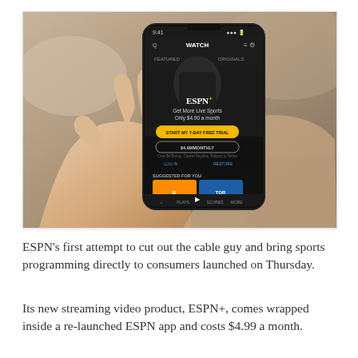[Figure (photo): A hand holding a smartphone displaying the ESPN+ app interface. The screen shows the ESPN+ logo, 'Get More Live Sports Only $4.90 a month', a yellow 'START MY 7-DAY FREE TRIAL' button, a '$4.99/MONTHLY' button, and a 'SUGGESTED FOR YOU' section with hockey game thumbnails.]
ESPN's first attempt to cut out the cable guy and bring sports programming directly to consumers launched on Thursday.
Its new streaming video product, ESPN+, comes wrapped inside a re-launched ESPN app and costs $4.99 a month.